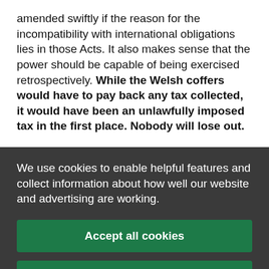amended swiftly if the reason for the incompatibility with international obligations lies in those Acts. It also makes sense that the power should be capable of being exercised retrospectively. While the Welsh coffers would have to pay back any tax collected, it would have been an unlawfully imposed tax in the first place. Nobody will lose out.
We use cookies to enable helpful features and collect information about how well our website and advertising are working.
Accept all cookies
Manage your cookie preferences